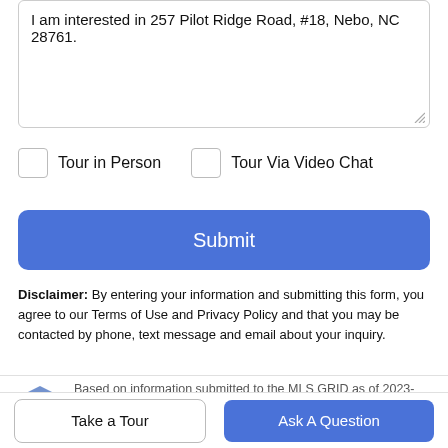I am interested in 257 Pilot Ridge Road, #18, Nebo, NC 28761.
Tour in Person
Tour Via Video Chat
Submit
Disclaimer: By entering your information and submitting this form, you agree to our Terms of Use and Privacy Policy and that you may be contacted by phone, text message and email about your inquiry.
Based on information submitted to the MLS GRID as of 2023-09-02T14:08:33.73 UTC. All
Take a Tour
Ask A Question